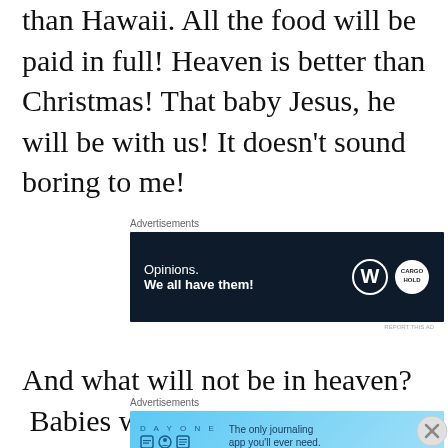than Hawaii.  All the food will be paid in full!  Heaven is better than Christmas!  That baby Jesus, he will be with us!  It doesn't sound boring to me!
[Figure (screenshot): Advertisement banner: dark navy background with 'Opinions. We all have them!' text in white, WordPress and another logo on right side]
And what will not be in heaven?  Babies without mommies.
[Figure (screenshot): Advertisement banner: light blue background with 'DAY ONE' text and icons, 'The only journaling app you'll ever need.' text on right]